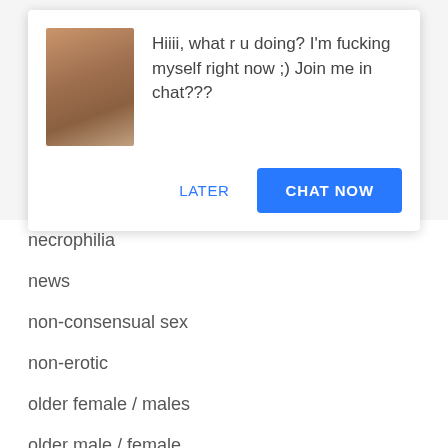[Figure (screenshot): A popup chat advertisement showing a thumbnail photo and message text with LATER and CHAT NOW buttons]
necrophilia
news
non-consensual sex
non-erotic
older female / males
older male / female
oral sex
plumper